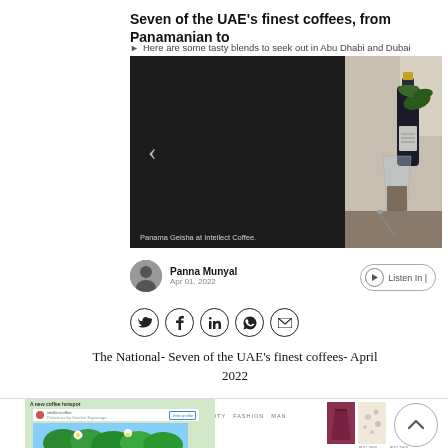Seven of the UAE's finest coffees, from Panamanian to
Here are some tasty blends to seek out in Abu Dhabi and Dubai
[Figure (photo): Article image showing Panama Geisha at Intellect Coffee — dark background on left with navigation arrow, coffee bottle and glass on right side. Caption reads: Panama Geisha at Intellect Coffee.]
Panama Geisha at Intellect Coffee.
Panna Munyal
Apr 01, 2022
Listen In |
[Figure (infographic): Social sharing icons: Twitter, Facebook, LinkedIn, WhatsApp, Email]
The National- Seven of the UAE's finest coffees- April 2022
[Figure (screenshot): Bottom section showing Arabian Woman magazine website with logo, navigation links (NEWS, LIFE, BEAUTY, FASHION, MAN), a coffee article preview with floral/plant photo, and two fashion item thumbnails. A scroll-to-top button (chevron up) is visible on the right.]